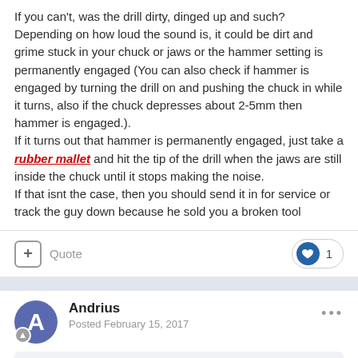If you can't, was the drill dirty, dinged up and such? Depending on how loud the sound is, it could be dirt and grime stuck in your chuck or jaws or the hammer setting is permanently engaged (You can also check if hammer is engaged by turning the drill on and pushing the chuck in while it turns, also if the chuck depresses about 2-5mm then hammer is engaged.). If it turns out that hammer is permanently engaged, just take a rubber mallet and hit the tip of the drill when the jaws are still inside the chuck until it stops making the noise. If that isnt the case, then you should send it in for service or track the guy down because he sold you a broken tool
+ Quote | 1 like
Andrius
Posted February 15, 2017
On 2/10/2017 at 6:26 PM, darrendriver said: